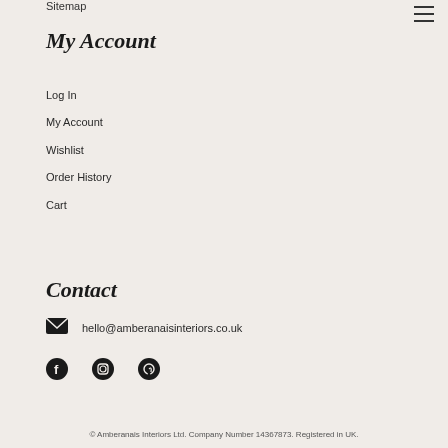Sitemap
My Account
Log In
My Account
Wishlist
Order History
Cart
Contact
hello@amberanaisinteriors.co.uk
[Figure (infographic): Social media icons: Facebook, Instagram, Pinterest]
© Amberanais Interiors Ltd. Company Number 14367873. Registered in UK.